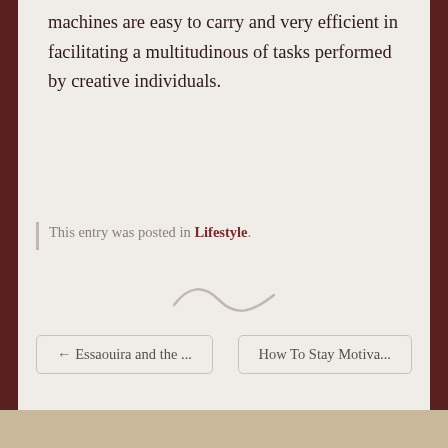machines are easy to carry and very efficient in facilitating a multitudinous of tasks performed by creative individuals.
This entry was posted in Lifestyle.
[Figure (illustration): Decorative tilde/wave divider symbol in light gray]
← Essaouira and the ...
How To Stay Motiva...